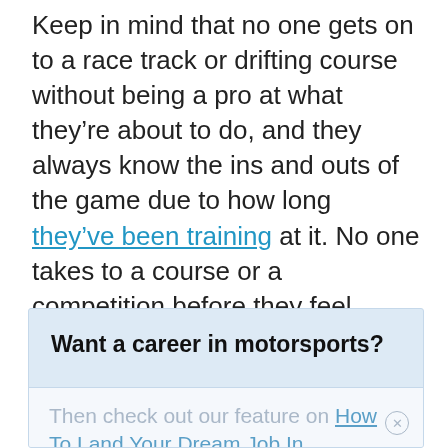Keep in mind that no one gets on to a race track or drifting course without being a pro at what they’re about to do, and they always know the ins and outs of the game due to how long they’ve been training at it. No one takes to a course or a competition before they feel ready, with all the right confidence and knowhow on their side, so make sure you’re not letting yourself fall into a trap of doubt about this.
Want a career in motorsports?
Then check out our feature on How To Land Your Dream Job In Motorsports